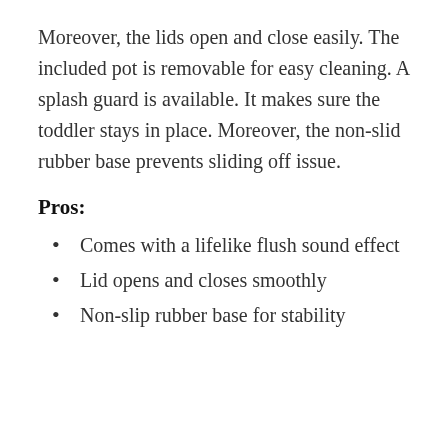Moreover, the lids open and close easily. The included pot is removable for easy cleaning. A splash guard is available. It makes sure the toddler stays in place. Moreover, the non-slid rubber base prevents sliding off issue.
Pros:
Comes with a lifelike flush sound effect
Lid opens and closes smoothly
Non-slip rubber base for stability